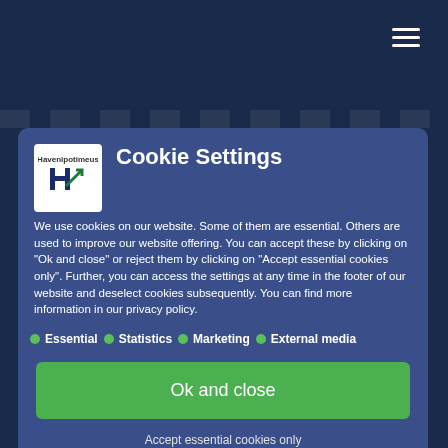[Figure (logo): Company logo with H and upward arrow symbol on white background]
Cookie Settings
We use cookies on our website. Some of them are essential. Others are used to improve our website offering. You can accept these by clicking on "Ok and close" or reject them by clicking on "Accept essential cookies only". Further, you can access the settings at any time in the footer of our website and deselect cookies subsequently. You can find more information in our privacy policy.
Essential
Statistics
Marketing
External media
Ok and close
Accept essential cookies only
Individual privacy settings
Cookie details | Privacy policy | Legal notice